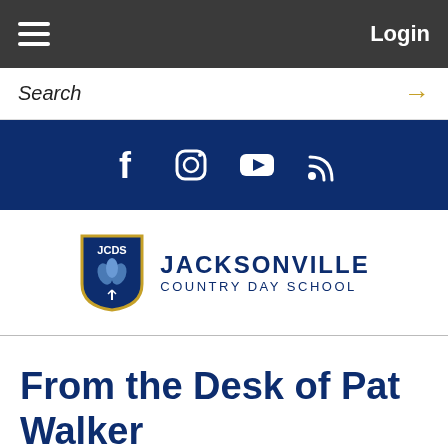Login
Search →
[Figure (illustration): Social media icons: Facebook, Instagram, YouTube, RSS feed — white icons on dark navy background]
[Figure (logo): Jacksonville Country Day School logo — shield with JCDS text and plant motif, next to bold text JACKSONVILLE COUNTRY DAY SCHOOL in navy blue]
From the Desk of Pat Walker